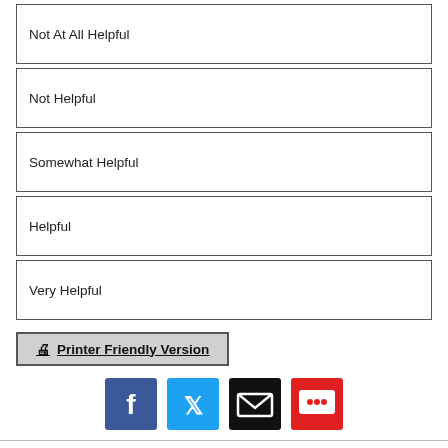Not At All Helpful
Not Helpful
Somewhat Helpful
Helpful
Very Helpful
Printer Friendly Version
[Figure (infographic): Social sharing icons: Facebook, Twitter, Email, Chat]
This information does not replace the advice of a doctor. Healthwise, Incorporated, disclaims any warranty or liability for your use of this information. Your use of this information means that you agree to the Terms of Use and Privacy Policy. Learn how we develop our content. To learn more about Healthwise, visit Healthwise.org. ©